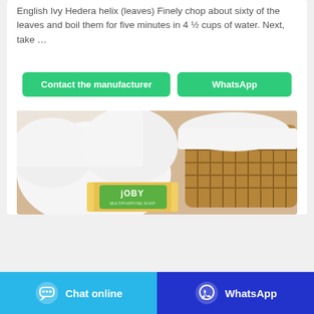English Ivy Hedera helix (leaves) Finely chop about sixty of the leaves and boil them for five minutes in 4 ½ cups of water. Next, take …
Contact the manufacturer
WhatsApp
[Figure (photo): Product photo showing white towels in a woven basket with a bar of Joby Multipurpose Soap.]
Chat online
WhatsApp